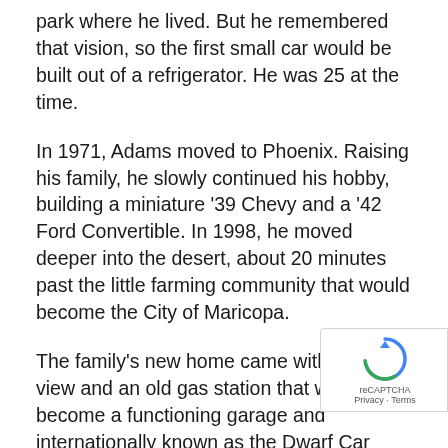park where he lived. But he remembered that vision, so the first small car would be built out of a refrigerator. He was 25 at the time.
In 1971, Adams moved to Phoenix. Raising his family, he slowly continued his hobby, building a miniature '39 Chevy and a '42 Ford Convertible. In 1998, he moved deeper into the desert, about 20 minutes past the little farming community that would become the City of Maricopa.
The family's new home came with a foothill view and an old gas station that would become a functioning garage and internationally known as the Dwarf Car Museum.
At 52954 W. Halfmoon Road, Maricopa, the Dwarf Car Museum started small but now on any given day has become a big deal with visitors coming from around world to see the miniaturized cars Adams has built by
[Figure (logo): Google reCAPTCHA badge with spinning arrow logo and Privacy - Terms links]